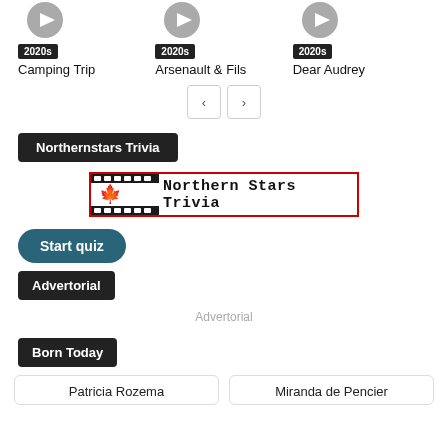[Figure (illustration): Three movie thumbnail items each with a circular play button icon (grey), a '2020s' badge, and a title. Items: 'Camping Trip', 'Arsenault & Fils', 'Dear Audrey'.]
2020s
Camping Trip
2020s
Arsenault & Fils
2020s
Dear Audrey
[Figure (illustration): Navigation left and right arrow buttons]
Northernstars Trivia
[Figure (logo): Northern Stars Trivia logo: film strip with Canadian maple leaf and bold text 'Northern Stars Trivia' in a red-bordered box]
Start quiz
Advertorial
Advertorial
Born Today
Patricia Rozema
Miranda de Pencier